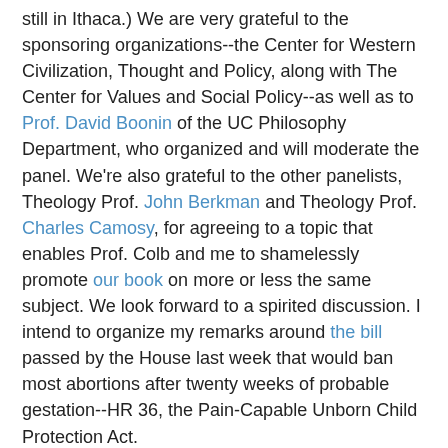still in Ithaca.) We are very grateful to the sponsoring organizations--the Center for Western Civilization, Thought and Policy, along with The Center for Values and Social Policy--as well as to Prof. David Boonin of the UC Philosophy Department, who organized and will moderate the panel. We're also grateful to the other panelists, Theology Prof. John Berkman and Theology Prof. Charles Camosy, for agreeing to a topic that enables Prof. Colb and me to shamelessly promote our book on more or less the same subject. We look forward to a spirited discussion. I intend to organize my remarks around the bill passed by the House last week that would ban most abortions after twenty weeks of probable gestation--HR 36, the Pain-Capable Unborn Child Protection Act.
HR 36 is unlikely to become law because, although President Trump has said he would sign it, there are not likely 60 Senators who would vote for it, and unless and until the GOP changes the cloture rule for ordinary legislation (as opposed to appointments and reconciliation bills), that's what would be needed.